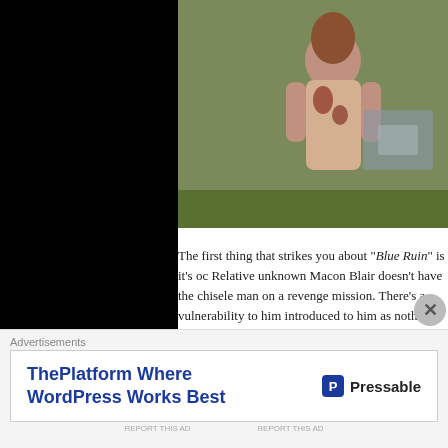[Figure (photo): A person standing outdoors near a vehicle, wearing a stained/bloody garment, with green landscape background. Upper portion of body visible.]
The first thing that strikes you about "Blue Ruin" is it's oc... Relative unknown Macon Blair doesn't have the chisele... man on a revenge mission. There's a vulnerability to him... introduced to him as nothing more than a hobo who eats... hides under a mane of greasy hair and a long unkempt b... doesn't use his hirsuteness to mask his performance. O... himself, he reveals an even more vulnerable side with g... volumes. He's a flawed everyman that's easy to relate to... outstanding central performance is pitched to the perfe... authenticity to an already believable and cleverly struc...
[Figure (photo): Outdoor scene with green foliage/trees, partially visible.]
Advertisements
[Figure (infographic): Advertisement banner: 'ThePlatform Where WordPress Works Best' with Pressable logo on the right.]